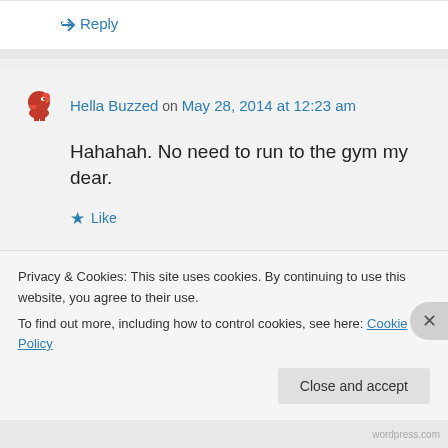↪ Reply
Hella Buzzed on May 28, 2014 at 12:23 am
Hahahah. No need to run to the gym my dear.
★ Like
↪ Reply
Privacy & Cookies: This site uses cookies. By continuing to use this website, you agree to their use.
To find out more, including how to control cookies, see here: Cookie Policy
Close and accept